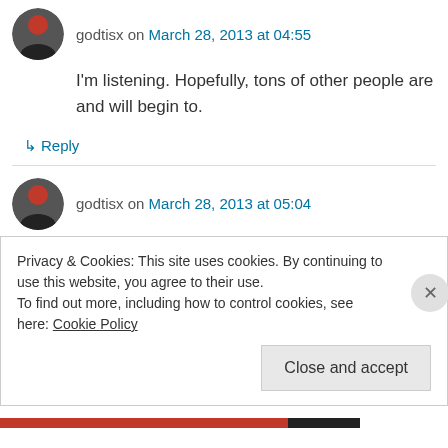godtisx on March 28, 2013 at 04:55
I'm listening. Hopefully, tons of other people are and will begin to.
↳ Reply
godtisx on March 28, 2013 at 05:04
Reblogged this on Archaic Sugar and commented:
This is an incredible read, so I hope you will take
Privacy & Cookies: This site uses cookies. By continuing to use this website, you agree to their use.
To find out more, including how to control cookies, see here: Cookie Policy
Close and accept